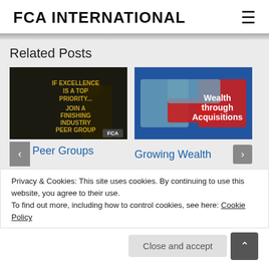FCA INTERNATIONAL
Related Posts
[Figure (photo): Dark promotional image with text: IF EXCELLENCE IS A TOP PRIORITY... JOIN A FINISHING INDUSTRY PEER GROUP, with FCA logo]
[Figure (photo): Puzzle pieces image with text: Wealth through Acquisitions]
Peer Groups
Growing Wealth
Privacy & Cookies: This site uses cookies. By continuing to use this website, you agree to their use.
To find out more, including how to control cookies, see here: Cookie Policy